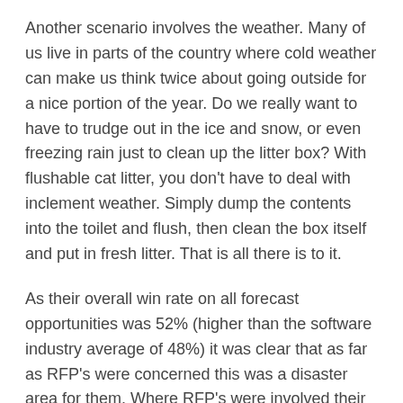Another scenario involves the weather. Many of us live in parts of the country where cold weather can make us think twice about going outside for a nice portion of the year. Do we really want to have to trudge out in the ice and snow, or even freezing rain just to clean up the litter box? With flushable cat litter, you don't have to deal with inclement weather. Simply dump the contents into the toilet and flush, then clean the box itself and put in fresh litter. That is all there is to it.
As their overall win rate on all forecast opportunities was 52% (higher than the software industry average of 48%) it was clear that as far as RFP's were concerned this was a disaster area for them. Where RFP's were involved their chances of losing were 4 to 1 – a huge waste of scarce pre-sales and domain resources! How does your RFP success stack up?
Planning a trip to the Big Sky Ski Resort is a great option for